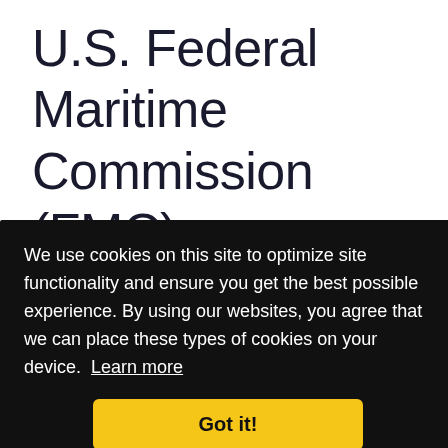U.S. Federal Maritime Commission (FMC) Concludes Pandemic-Centered Fact Finding (FF)
We use cookies on this site to optimize site functionality and ensure you get the best possible experience. By using our websites, you agree that we can place these types of cookies on your device. Learn more
Got it!
ocean way
competition exists among the three major ocean